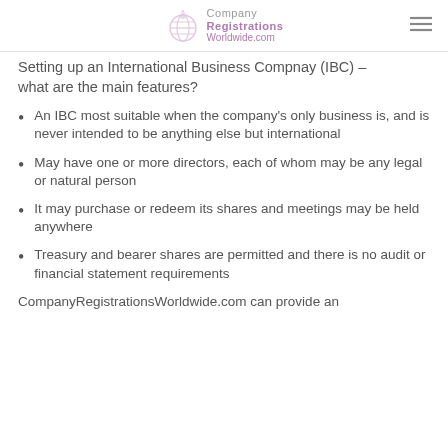Company Registrations Worldwide.com
Setting up an International Business Compnay (IBC) – what are the main features?
An IBC most suitable when the company's only business is, and is never intended to be anything else but international
May have one or more directors, each of whom may be any legal or natural person
It may purchase or redeem its shares and meetings may be held anywhere
Treasury and bearer shares are permitted and there is no audit or financial statement requirements
CompanyRegistrationsWorldwide.com can provide an